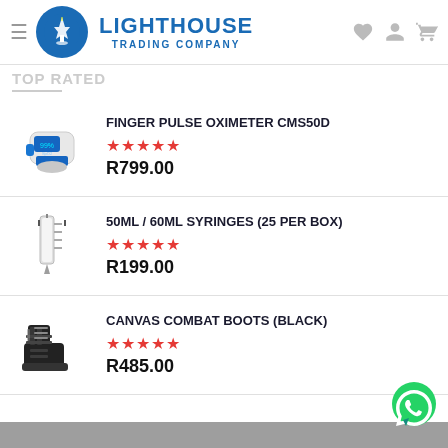Lighthouse Trading Company
TOP RATED
FINGER PULSE OXIMETER CMS50D ★★★★★ R799.00
50ML / 60ML SYRINGES (25 PER BOX) ★★★★★ R199.00
CANVAS COMBAT BOOTS (BLACK) ★★★★★ R485.00